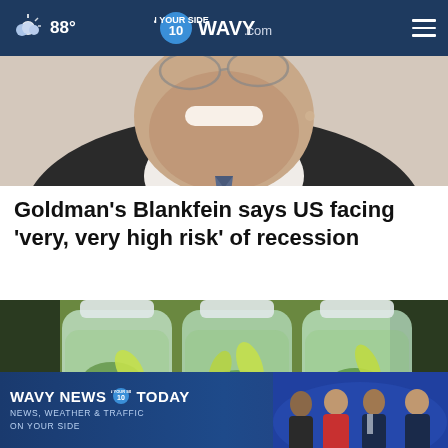88° | WAVY.com | ON YOUR SIDE
[Figure (photo): Close-up of a smiling man wearing glasses and a suit with a patterned tie, photographed from below chin level]
Goldman's Blankfein says US facing 'very, very high risk' of recession
[Figure (photo): Three glass bottles filled with green cucumber-lemon infused water, arranged side by side]
[Figure (photo): WAVY NEWS 10 TODAY advertisement banner showing news anchors and text: NEWS, WEATHER & TRAFFIC ON YOUR SIDE]